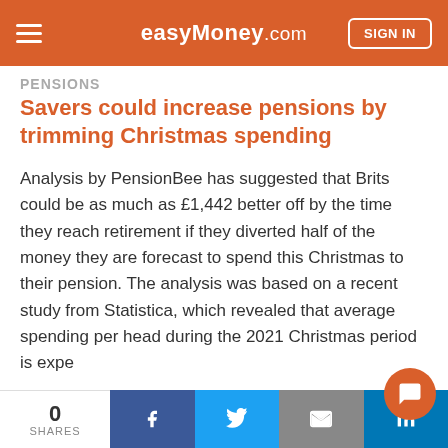easyMoney.com
PENSIONS
Savers could increase pensions by trimming Christmas spending
Analysis by PensionBee has suggested that Brits could be as much as £1,442 better off by the time they reach retirement if they diverted half of the money they are forecast to spend this Christmas to their pension. The analysis was based on a recent study from Statistica, which revealed that average spending per head during the 2021 Christmas period is expe…
0 SHARES